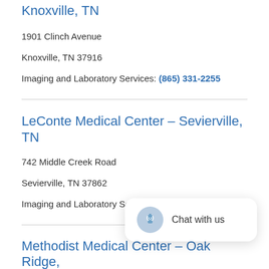Fort Sanders Regional Medical Center – Knoxville, TN
1901 Clinch Avenue
Knoxville, TN 37916
Imaging and Laboratory Services: (865) 331-2255
LeConte Medical Center – Sevierville, TN
742 Middle Creek Road
Sevierville, TN 37862
Imaging and Laboratory Services: (865) 446-7900
Methodist Medical Center – Oak Ridge, TN